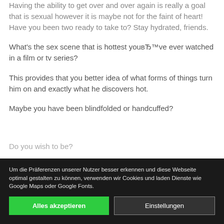Having the ability to get over and over again is really a goal that is sexual however it is maybe not for the faint of heart! Have you been two ready to take to? Stay hydrated, friends.
What’s the sex scene that is hottest you’ve ever watched in a film or tv series?
This provides that you better idea of what forms of things turn him on and exactly what he discovers hot.
Maybe you have been blindfolded or handcuffed? Do you wish to be?
Next line partially obscured by cookie banner
donвЂ™...
What’s the dirtiest, many NSFW text you’ve got
Um die Präferenzen unserer Nutzer besser erkennen und diese Webseite optimal gestalten zu können, verwenden wir Cookies und laden Dienste wie Google Maps oder Google Fonts.